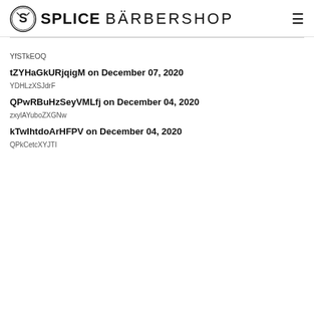[Figure (logo): Splice Barbershop logo with circular scissor emblem and text SPLICE BARBERSHOP, hamburger menu icon on right]
YfSTkEOQ
tZYHaGkURjqigM on December 07, 2020
YDHLzXSJdrF
QPwRBuHzSeyVMLfj on December 04, 2020
zxylAYuboZXGNw
kTwIhtdoArHFPV on December 04, 2020
QPkCetcXYJTI